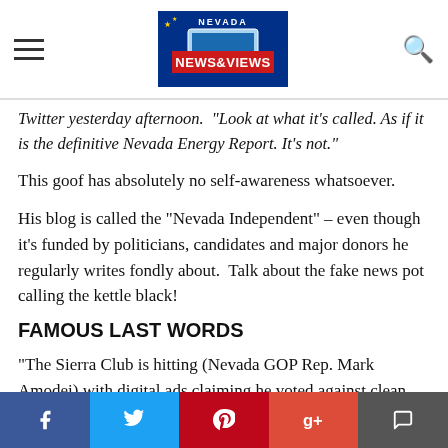Nevada News & Views
Twitter yesterday afternoon. “Look at what it’s called. As if it is the definitive Nevada Energy Report. It’s not.”
This goof has absolutely no self-awareness whatsoever.
His blog is called the “Nevada Independent” – even though it’s funded by politicians, candidates and major donors he regularly writes fondly about. Talk about the fake news pot calling the kettle black!
FAMOUS LAST WORDS
“The Sierra Club is hitting (Nevada GOP Rep. Mark Amodei) with digital ads claiming he voted against clean air. What the Sierra Club doesn’t know is that Amodei is
Facebook Twitter Pinterest Google+ Comment